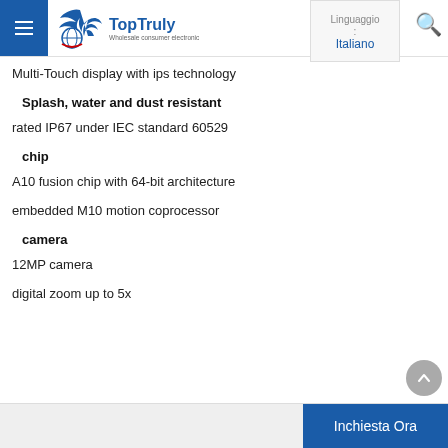TopTruly — Wholesale consumer electronic | Linguaggio: Italiano
Multi-Touch display with ips technology
Splash, water and dust resistant
rated IP67 under IEC standard 60529
chip
A10 fusion chip with 64-bit architecture
embedded M10 motion coprocessor
camera
12MP camera
digital zoom up to 5x
Inchiesta Ora